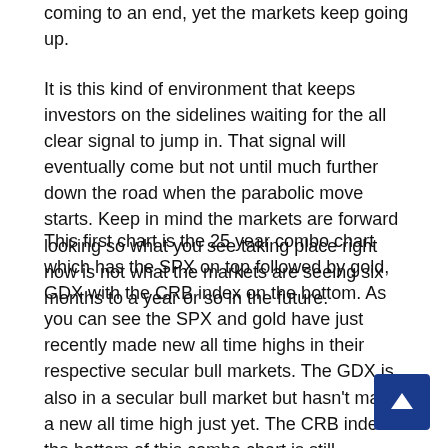coming to an end, yet the markets keep going up.
It is this kind of environment that keeps investors on the sidelines waiting for the all clear signal to jump in. That signal will eventually come but not until much further down the road when the parabolic move starts. Keep in mind the markets are forward looking so what you see taking place right now is not what the markets are seeing six months to a year or so in the future.
This first chart is the 25 year combo chart which has the SPX on top followed by gold, GDX with the CRB index on the bottom. As you can see the SPX and gold have just recently made new all time highs in their respective secular bull markets. The GDX is also in a secular bull market but hasn't made a new all time high just yet. The CRB index at the bottom of this combo chart is still extremely early in its new bull market which is going to take some time before investors really start seeing the signs. Note how all 4 have been moving higher since their March 2020 crash low. Again, this is about as